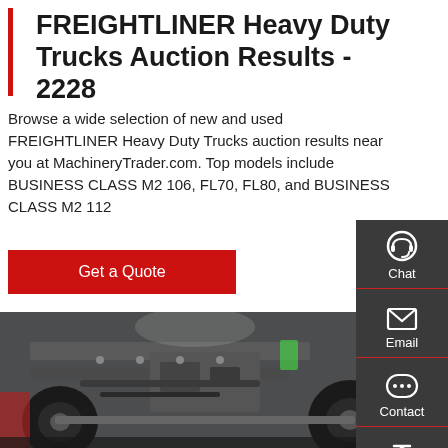FREIGHTLINER Heavy Duty Trucks Auction Results - 2228
Browse a wide selection of new and used FREIGHTLINER Heavy Duty Trucks auction results near you at MachineryTrader.com. Top models include BUSINESS CLASS M2 106, FL70, FL80, and BUSINESS CLASS M2 112
[Figure (other): Red 'Get a Quote' button]
[Figure (photo): Undercarriage view of a Freightliner heavy duty truck, showing frame, axle, tires, and mechanical components from below]
[Figure (infographic): Dark grey right sidebar with chat, email, contact, and top navigation icons in white on dark background, separated by red dividers]